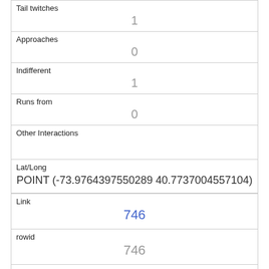| Tail twitches | 1 |
| Approaches | 0 |
| Indifferent | 1 |
| Runs from | 0 |
| Other Interactions |  |
| Lat/Long | POINT (-73.9764397550289 40.7737004557104) |
| Link | 746 |
| rowid | 746 |
| longitude | -73.9591407691 |
| latitude |  |